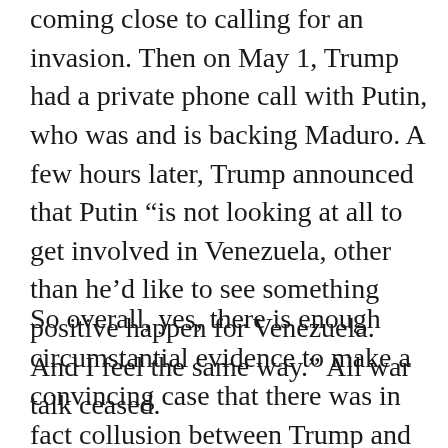coming close to calling for an invasion. Then on May 1, Trump had a private phone call with Putin, who was and is backing Maduro. A few hours later, Trump announced that Putin “is not looking at all to get involved in Venezuela, other than he’d like to see something positive happen for Venezuela.  And I feel the same way.” All war talk ceased.
So overall, yes, there is enough circumstantial evidence to make a convincing case that there was in fact collusion between Trump and the Putin